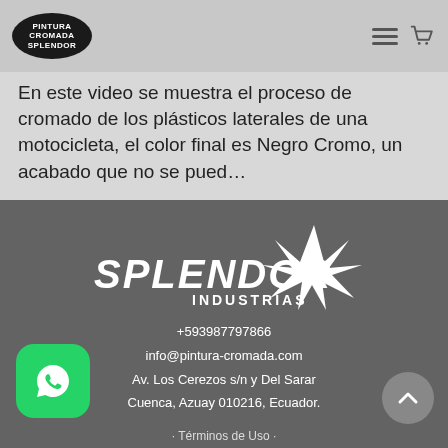[Figure (logo): Pintura Cromada Splendor logo in black oval, top left of page header]
En este video se muestra el proceso de cromado de los plásticos laterales de una motocicleta, el color final es Negro Cromo, un acabado que no se pued…
Canal de YouTube de Pintura Cromada Splendor
[Figure (logo): Splendor Industrias logo in white text with star graphic on dark grey background]
+593987797866
info@pintura-cromada.com
Av. Los Cerezos s/n y Del Sarar
Cuenca, Azuay 010216, Ecuador.
[Figure (logo): WhatsApp button icon, green rounded square with phone handset]
· Términos de Uso ·